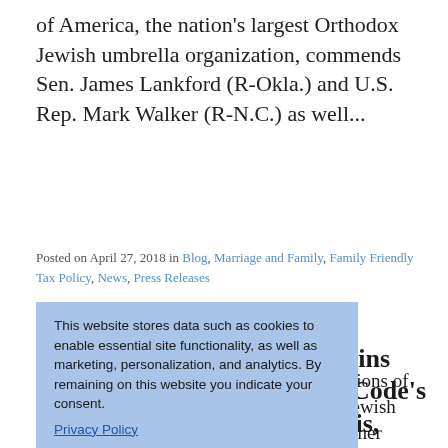of America, the nation's largest Orthodox Jewish umbrella organization, commends Sen. James Lankford (R-Okla.) and U.S. Rep. Mark Walker (R-N.C.) as well...
Posted on April 27, 2018 in Blog, Marriage and Family, Family Friendly Tax Policy, News, Press Releases
Union of Orthodox Jewish Congregations of America Joins Amicus Brief to Protect Tax Code's Housing Allowance for Rabbis, Pastors, and Other Clergy
This website stores data such as cookies to enable essential site functionality, as well as marketing, personalization, and analytics. By remaining on this website you indicate your consent.
Privacy Policy
The Union of Orthodox Jewish Congregations of America – the nation's largest Orthodox Jewish umbrella organization – has joined with other religious organizations in filing a 'friend of the court' brief that defends a longstanding tax exemption